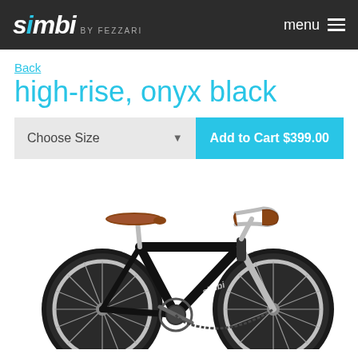simbi BY FEZZARI  menu
Back
high-rise, onyx black
Choose Size
Add to Cart $399.00
[Figure (photo): Black city bicycle (Simbi branded) with brown leather saddle and grips, upright handlebars, chrome components, on white background]